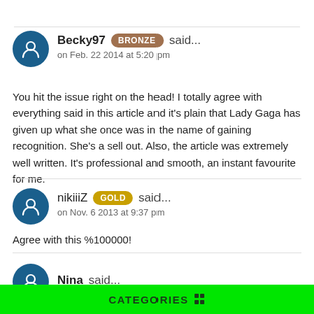Becky97 BRONZE said... on Feb. 22 2014 at 5:20 pm
You hit the issue right on the head! I totally agree with everything said in this article and it's plain that Lady Gaga has given up what she once was in the name of gaining recognition. She's a sell out. Also, the article was extremely well written. It's professional and smooth, an instant favourite for me.
nikiiiZ GOLD said... on Nov. 6 2013 at 9:37 pm
Agree with this %100000!
Nina said...
CATEGORIES